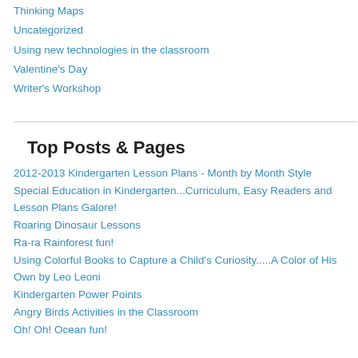Thinking Maps
Uncategorized
Using new technologies in the classroom
Valentine's Day
Writer's Workshop
Top Posts & Pages
2012-2013 Kindergarten Lesson Plans - Month by Month Style
Special Education in Kindergarten...Curriculum, Easy Readers and Lesson Plans Galore!
Roaring Dinosaur Lessons
Ra-ra Rainforest fun!
Using Colorful Books to Capture a Child's Curiosity.....A Color of His Own by Leo Leoni
Kindergarten Power Points
Angry Birds Activities in the Classroom
Oh! Oh! Ocean fun!